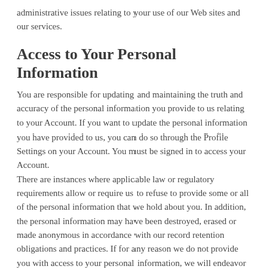administrative issues relating to your use of our Web sites and our services.
Access to Your Personal Information
You are responsible for updating and maintaining the truth and accuracy of the personal information you provide to us relating to your Account. If you want to update the personal information you have provided to us, you can do so through the Profile Settings on your Account. You must be signed in to access your Account. There are instances where applicable law or regulatory requirements allow or require us to refuse to provide some or all of the personal information that we hold about you. In addition, the personal information may have been destroyed, erased or made anonymous in accordance with our record retention obligations and practices. If for any reason we do not provide you with access to your personal information, we will endeavor to inform you of the reasons why, subject to any